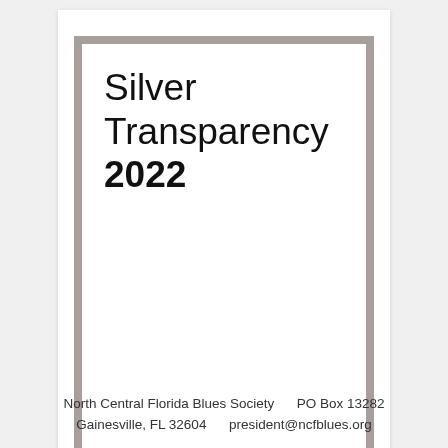[Figure (logo): Silver Transparency 2022 Candid. badge — a white square with black text inside a silver/gray thick border frame, set on a white card background.]
North Central Florida Blues Society     PO Box 13282
Gainesville, FL 32604     president@ncfblues.org